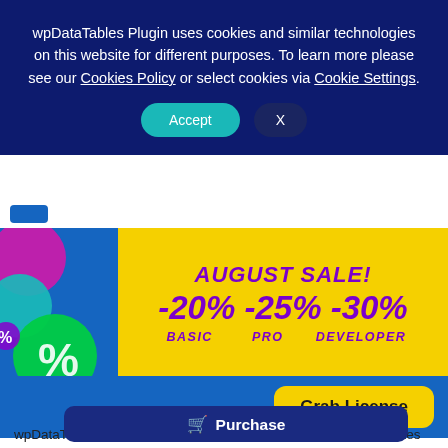wpDataTables Plugin uses cookies and similar technologies on this website for different purposes. To learn more please see our Cookies Policy or select cookies via Cookie Settings.
Accept
X
[Figure (infographic): August Sale banner with discount percentages: -20% BASIC, -25% PRO, -30% DEVELOPER on a yellow background with colorful percentage circles on a blue background]
Grab License
Purchase
wpDataTables is a best-selling WordPress table plugin which makes